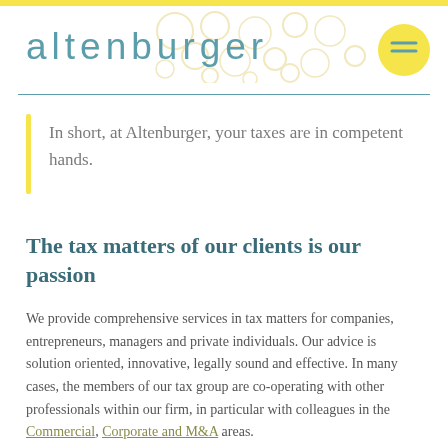altenburger
In short, at Altenburger, your taxes are in competent hands.
The tax matters of our clients is our passion
We provide comprehensive services in tax matters for companies, entrepreneurs, managers and private individuals. Our advice is solution oriented, innovative, legally sound and effective. In many cases, the members of our tax group are co-operating with other professionals within our firm, in particular with colleagues in the Commercial, Corporate and M&A areas.